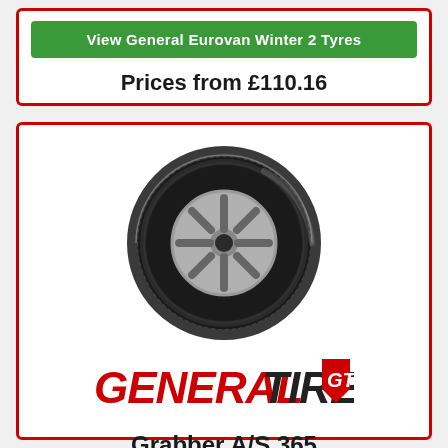View General Eurovan Winter 2 Tyres
Prices from £110.16
[Figure (photo): A General Tire tyre (Grabber A/S 365) shown at an angle, displaying the tread and sidewall]
[Figure (logo): General Tire logo with GT badge — red italic GENERAL and black italic TIRE text with red GT shield logo]
Grabber A/S 365